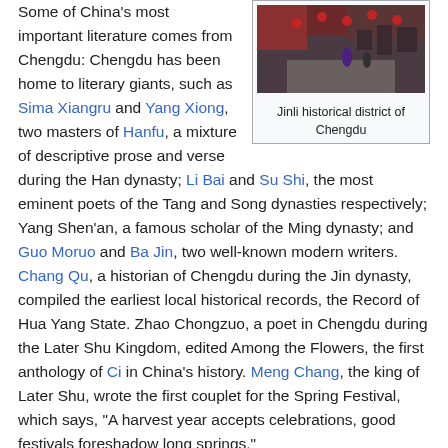[Figure (photo): Photo of Jinli historical district of Chengdu showing a street with red lanterns and people walking]
Jinli historical district of Chengdu
Some of China's most important literature comes from Chengdu: Chengdu has been home to literary giants, such as Sima Xiangru and Yang Xiong, two masters of Hanfu, a mixture of descriptive prose and verse during the Han dynasty; Li Bai and Su Shi, the most eminent poets of the Tang and Song dynasties respectively; Yang Shen'an, a famous scholar of the Ming dynasty; and Guo Moruo and Ba Jin, two well-known modern writers. Chang Qu, a historian of Chengdu during the Jin dynasty, compiled the earliest local historical records, the Record of Hua Yang State. Zhao Chongzuo, a poet in Chengdu during the Later Shu Kingdom, edited Among the Flowers, the first anthology of Ci in China's history. Meng Chang, the king of Later Shu, wrote the first couplet for the Spring Festival, which says, "A harvest year accepts celebrations, good festivals foreshadow long springs."
Fine art
During the period of the Five Dynasties, Huang Quan, a painter in